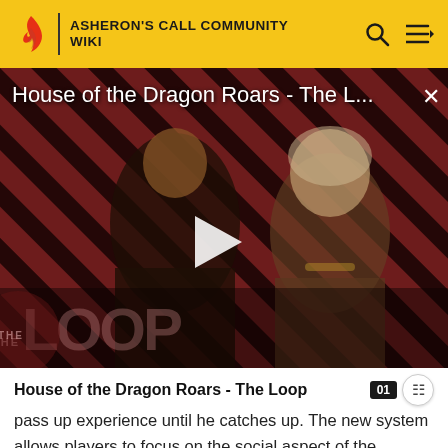ASHERON'S CALL COMMUNITY WIKI
[Figure (screenshot): Video player showing 'House of the Dragon Roars - The L...' with play button overlay, diagonal red and black stripe background, two character silhouettes, and 'THE LOOP' watermark]
House of the Dragon Roars - The Loop
pass up experience until he catches up. The new system allows players to focus on the social aspect of the allegiance without being restricted by experience pass-